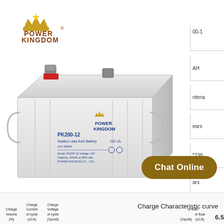[Figure (logo): Power Kingdom logo with crown icon in brown/gold color]
[Figure (photo): Power Kingdom PK200-12 12V 200AH Sealed Lead Acid Battery, large white rectangular battery with blue branding text and handles on sides]
00-1
AH
ntena
ears
*238
ars
Charge Volume (%) Charge Current of cycle (xCA) Charge Voltage of cycle (Vpcell)
Charge Characteristic curve
of float (Vpcell) of float (xCA)
6.5
[Figure (other): Chat Online button in dark gold/brown rounded rectangle]